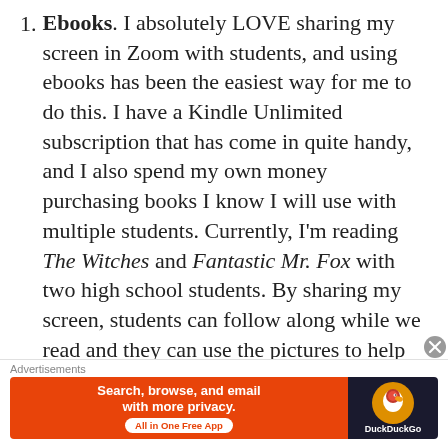Ebooks. I absolutely LOVE sharing my screen in Zoom with students, and using ebooks has been the easiest way for me to do this. I have a Kindle Unlimited subscription that has come in quite handy, and I also spend my own money purchasing books I know I will use with multiple students. Currently, I'm reading The Witches and Fantastic Mr. Fox with two high school students. By sharing my screen, students can follow along while we read and they can use the pictures to help with reading comprehension (which is why I chose these texts). These
Advertisements
[Figure (other): DuckDuckGo advertisement banner: orange left panel reading 'Search, browse, and email with more privacy. All in One Free App', dark right panel with DuckDuckGo duck logo and brand name.]